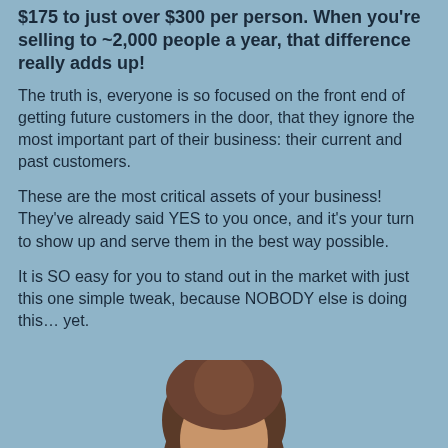$175 to just over $300 per person. When you're selling to ~2,000 people a year, that difference really adds up!
The truth is, everyone is so focused on the front end of getting future customers in the door, that they ignore the most important part of their business: their current and past customers.
These are the most critical assets of your business! They've already said YES to you once, and it's your turn to show up and serve them in the best way possible.
It is SO easy for you to stand out in the market with just this one simple tweak, because NOBODY else is doing this… yet.
[Figure (photo): Bottom portion of a person's head/hair visible at the bottom center of the page]